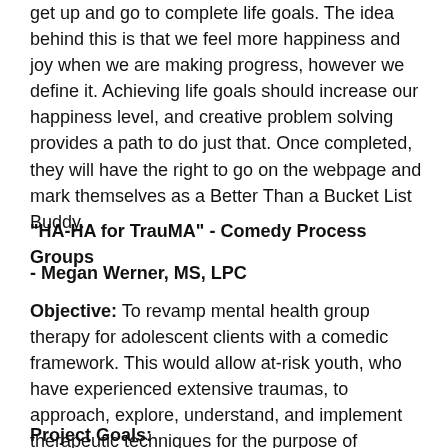get up and go to complete life goals. The idea behind this is that we feel more happiness and joy when we are making progress, however we define it. Achieving life goals should increase our happiness level, and creative problem solving provides a path to do just that. Once completed, they will have the right to go on the webpage and mark themselves as a Better Than a Bucket List Buddy.
"HA-HA for TrauMA" - Comedy Process Groups
- Megan Werner, MS, LPC
Objective: To revamp mental health group therapy for adolescent clients with a comedic framework. This would allow at-risk youth, who have experienced extensive traumas, to approach, explore, understand, and implement therapeutic techniques for the purpose of sparking the initial healing process and of improving overall wellness.
Project Goals: